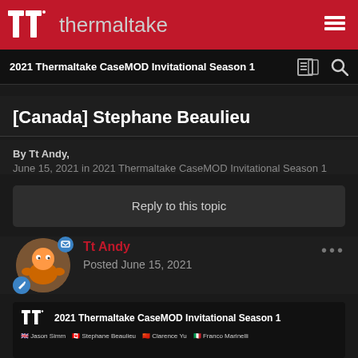thermaltake
2021 Thermaltake CaseMOD Invitational Season 1
[Canada] Stephane Beaulieu
By Tt Andy,
June 15, 2021 in 2021 Thermaltake CaseMOD Invitational Season 1
Reply to this topic
Tt Andy
Posted June 15, 2021
[Figure (screenshot): Thumbnail of the 2021 Thermaltake CaseMOD Invitational Season 1 video/post with TT logo and participant flags including Jason Simm, Stephane Beaulieu, Clarence Yu, Franco Marinelli]